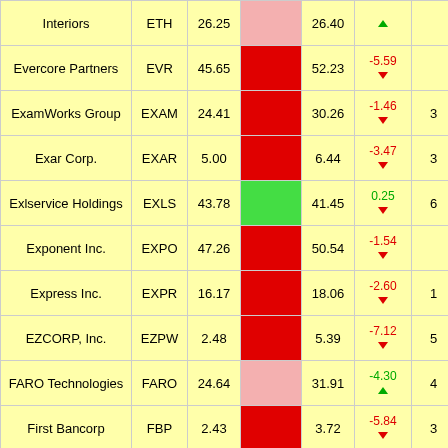| Company | Ticker | Price | Bar | Target | Change | Extra |
| --- | --- | --- | --- | --- | --- | --- |
| Interiors | ETH | 26.25 |  | 26.40 | ▲ |  |
| Evercore Partners | EVR | 45.65 |  | 52.23 | -5.59 ▼ |  |
| ExamWorks Group | EXAM | 24.41 |  | 30.26 | -1.46 ▼ | 3 |
| Exar Corp. | EXAR | 5.00 |  | 6.44 | -3.47 ▼ | 3 |
| Exlservice Holdings | EXLS | 43.78 |  | 41.45 | 0.25 ▼ | 6 |
| Exponent Inc. | EXPO | 47.26 |  | 50.54 | -1.54 ▼ |  |
| Express Inc. | EXPR | 16.17 |  | 18.06 | -2.60 ▼ | 1 |
| EZCORP, Inc. | EZPW | 2.48 |  | 5.39 | -7.12 ▼ | 5 |
| FARO Technologies | FARO | 24.64 |  | 31.91 | -4.30 ▲ | 4 |
| First Bancorp | FBP | 2.43 |  | 3.72 | -5.84 ▼ | 3 |